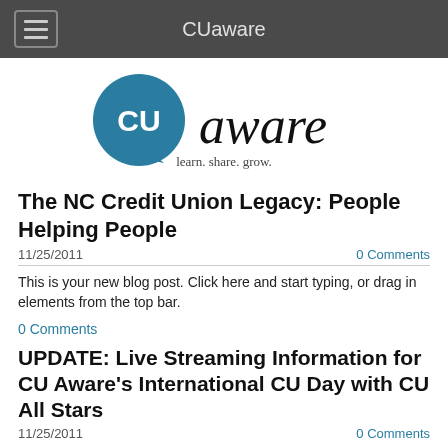CUaware
[Figure (logo): CUaware logo with speech bubble containing 'CU' in white, 'aware' in italic black, and tagline 'learn. share. grow.']
The NC Credit Union Legacy: People Helping People
11/25/2011	0 Comments
This is your new blog post. Click here and start typing, or drag in elements from the top bar.
0 Comments
UPDATE: Live Streaming Information for CU Aware's International CU Day with CU All Stars
11/25/2011	0 Comments